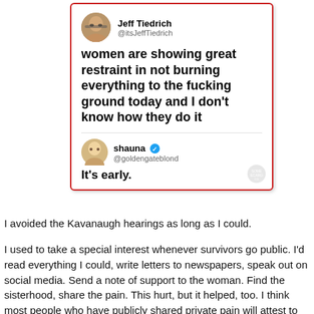[Figure (screenshot): Screenshot of a Twitter/social media exchange. Jeff Tiedrich (@itsJeffTiedrich) posts: 'women are showing great restraint in not burning everything to the fucking ground today and I don't know how they do it'. Reply from shauna (@goldengateblond, verified): 'It's early.']
I avoided the Kavanaugh hearings as long as I could.
I used to take a special interest whenever survivors go public. I'd read everything I could, write letters to newspapers, speak out on social media. Send a note of support to the woman. Find the sisterhood, share the pain. This hurt, but it helped, too. I think most people who have publicly shared private pain will attest to that: it hurts and it helps.